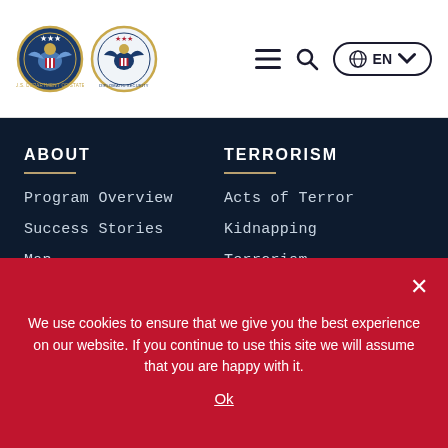[Figure (logo): U.S. State Department seal and Diplomatic Security seal side by side]
ABOUT
Program Overview
Success Stories
Map
Frequently Asked
TERRORISM
Acts of Terror
Kidnapping
Terrorism Financing
We use cookies to ensure that we give you the best experience on our website. If you continue to use this site we will assume that you are happy with it.
Ok